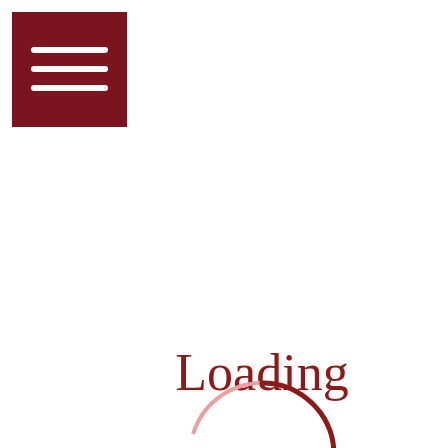[Figure (logo): Dark red/maroon square with three horizontal white lines (hamburger menu icon) in the top-left corner]
[Figure (infographic): A loading spinner composed of a pink/light-red circle outline with a dark red arc segment, overlaid with the text 'Loading' in dark red serif font. Below and to the left is the word 'savvyl' in a red italic/serif font.]